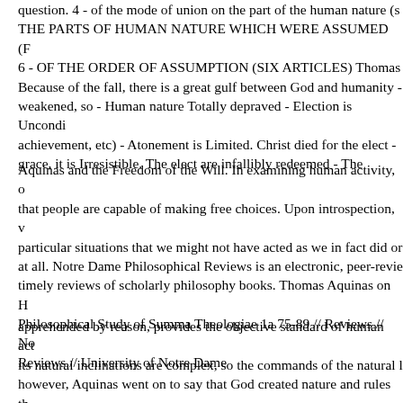question. 4 - of the mode of union on the part of the human nature (s THE PARTS OF HUMAN NATURE WHICH WERE ASSUMED (F 6 - OF THE ORDER OF ASSUMPTION (SIX ARTICLES) Thomas Because of the fall, there is a great gulf between God and humanity - weakened, so - Human nature Totally depraved - Election is Uncondi achievement, etc) - Atonement is Limited. Christ died for the elect - grace, it is Irresistible. The elect are infallibly redeemed - The
Aquinas and the Freedom of the Will. In examining human activity, o that people are capable of making free choices. Upon introspection, v particular situations that we might not have acted as we in fact did or at all. Notre Dame Philosophical Reviews is an electronic, peer-revie timely reviews of scholarly philosophy books. Thomas Aquinas on H Philosophical Study of Summa Theologiae 1a 75-89 // Reviews // No Reviews // University of Notre Dame
apprehended by reason, provides the objective standard of human act its natural inclinations are complex, so the commands of the natural l however, Aquinas went on to say that God created nature and rules th Aquinas also believed that by the Free will we are Calling of grace f